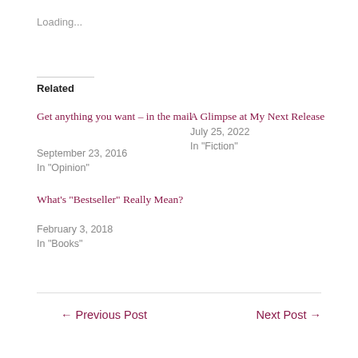Loading...
Related
Get anything you want – in the mail
September 23, 2016
In "Opinion"
A Glimpse at My Next Release
July 25, 2022
In "Fiction"
What's “Bestseller” Really Mean?
February 3, 2018
In "Books"
← Previous Post     Next Post →